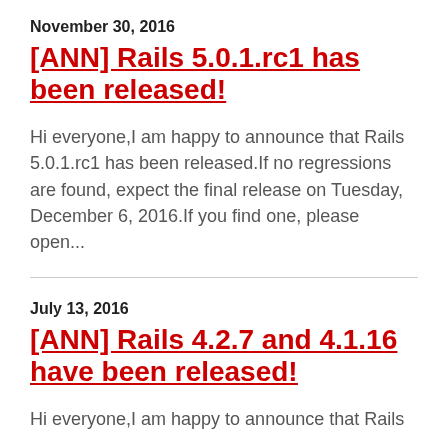November 30, 2016
[ANN] Rails 5.0.1.rc1 has been released!
Hi everyone,I am happy to announce that Rails 5.0.1.rc1 has been released.If no regressions are found, expect the final release on Tuesday, December 6, 2016.If you find one, please open...
July 13, 2016
[ANN] Rails 4.2.7 and 4.1.16 have been released!
Hi everyone,I am happy to announce that Rails